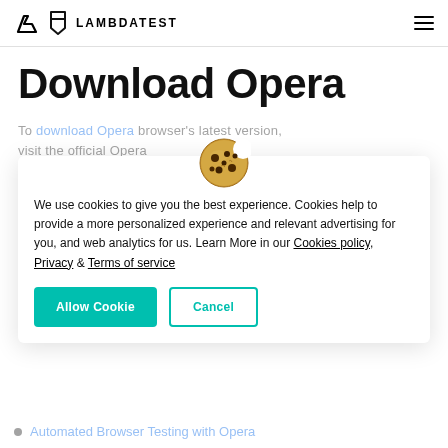LAMBDATEST
Download Opera
To download Opera browser's latest version, visit the official Opera website.
[Figure (screenshot): Cookie consent dialog box with cookie emoji icon, consent text, Cookies policy, Privacy, and Terms of service links, plus Allow Cookie and Cancel buttons.]
Automated Browser Testing with Opera